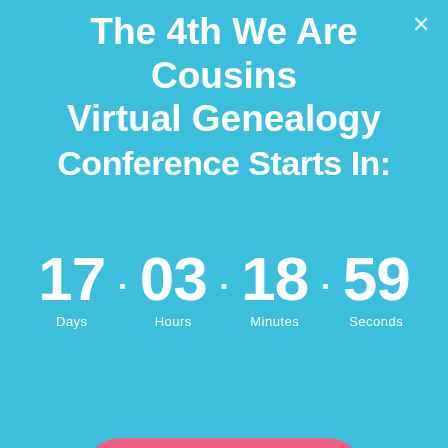The 4th We Are Cousins Virtual Genealogy Conference Starts In:
17 · 03 · 18 · 59
Days   Hours   Minutes   Seconds
Register
View All Books
Surname Book Series
[Figure (photo): Book Series Introduction image with text overlay reading BOOK SERIES INTRODUCTION]